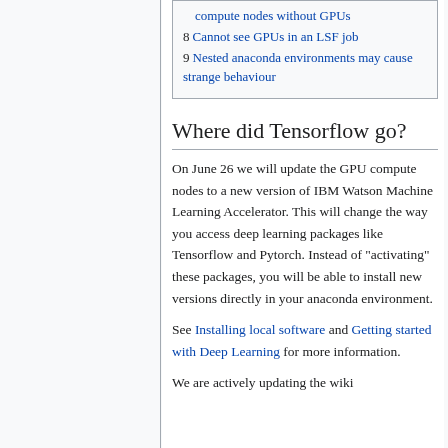compute nodes without GPUs
8 Cannot see GPUs in an LSF job
9 Nested anaconda environments may cause strange behaviour
Where did Tensorflow go?
On June 26 we will update the GPU compute nodes to a new version of IBM Watson Machine Learning Accelerator. This will change the way you access deep learning packages like Tensorflow and Pytorch. Instead of "activating" these packages, you will be able to install new versions directly in your anaconda environment.
See Installing local software and Getting started with Deep Learning for more information.
We are actively updating the wiki